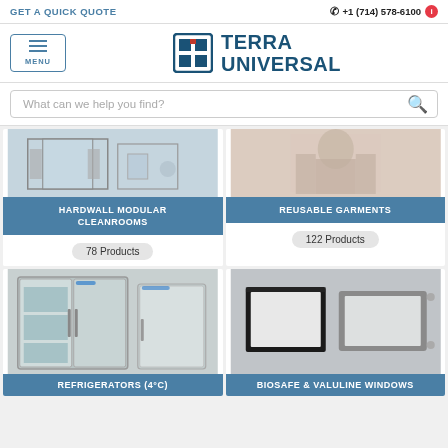GET A QUICK QUOTE | +1 (714) 578-6100
[Figure (logo): Terra Universal logo with hamburger menu button]
What can we help you find?
[Figure (photo): Hardwall Modular Cleanrooms product category image]
HARDWALL MODULAR CLEANROOMS
78 Products
[Figure (photo): Reusable Garments product category image]
REUSABLE GARMENTS
122 Products
[Figure (photo): Refrigerators (4°C) product category image]
REFRIGERATORS (4°C)
[Figure (photo): Biosafe & Valuline Windows product category image]
BIOSAFE & VALULINE WINDOWS